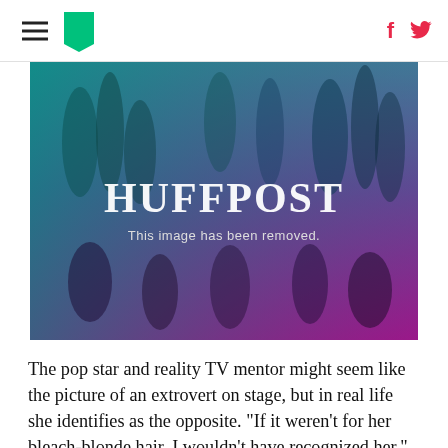HuffPost navigation header with hamburger menu, logo, Facebook and Twitter icons
[Figure (photo): HuffPost placeholder image with teal-to-purple gradient background showing silhouettes of people, with 'HUFFPOST' text centered and subtitle 'This image has been removed.']
The pop star and reality TV mentor might seem like the picture of an extrovert on stage, but in real life she identifies as the opposite. "If it weren't for her bleach-blonde hair, I wouldn't have recognized her."